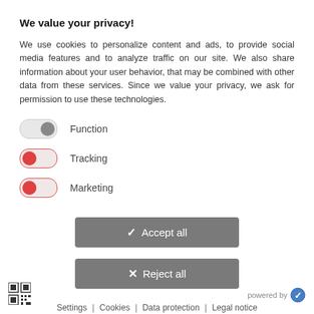We value your privacy!
We use cookies to personalize content and ads, to provide social media features and to analyze traffic on our site. We also share information about your user behavior, that may be combined with other data from these services. Since we value your privacy, we ask for permission to use these technologies.
Function (toggle off)
Tracking (toggle on)
Marketing (toggle on)
[Figure (other): Accept all button (gray rounded rectangle with checkmark icon)]
[Figure (other): Reject all button (gray rounded rectangle with X icon)]
Settings | Cookies | Data protection | Legal notice
[Figure (other): QR code icon in bottom left]
powered by (checkmark logo)